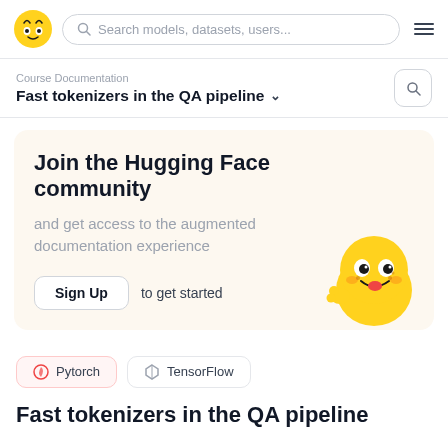Search models, datasets, users...
Fast tokenizers in the QA pipeline
Course Documentation
Join the Hugging Face community
and get access to the augmented documentation experience
Sign Up to get started
Pytorch  TensorFlow
Fast tokenizers in the QA pipeline